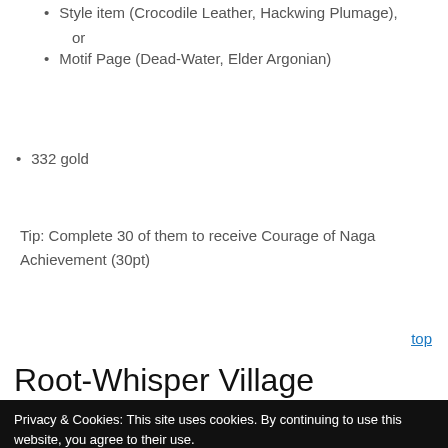Style item (Crocodile Leather, Hackwing Plumage), or
Motif Page (Dead-Water, Elder Argonian)
332 gold
Tip: Complete 30 of them to receive Courage of Naga Achievement (30pt)
top
Root-Whisper Village
Privacy & Cookies: This site uses cookies. By continuing to use this website, you agree to their use.
To find out more, including how to control cookies, see here: Cookie Policy
Close and accept